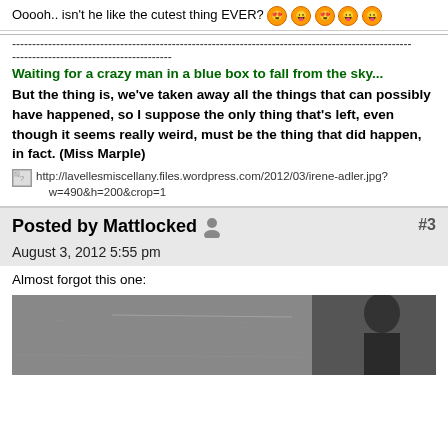Ooooh.. isn't he like the cutest thing EVER? [emojis]
----------------------------------------------------------------------------------------------------
----------------------------------------
Waiting for a crazy man in a blue box to fall from the sky...
But the thing is, we've taken away all the things that can possibly have happened, so I suppose the only thing that's left, even though it seems really weird, must be the thing that did happen, in fact. (Miss Marple)
[Figure (other): Broken image link to http://lavellesmiscellany.files.wordpress.com/2012/03/irene-adler.jpg?w=490&amp;h=200&amp;crop=1]
Posted by Mattlocked #3
August 3, 2012 5:55 pm
Almost forgot this one:
[Figure (photo): Black and white photo partially visible at bottom of page, showing a man's profile]